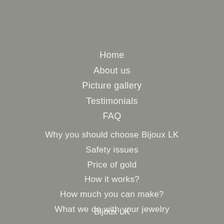Home
About us
Picture gallery
Testimonials
FAQ
Why you should choose Bijoux LK
Safety issues
Price of gold
How it works?
How much you can make?
What we do with your jewelry
Bijoux LK